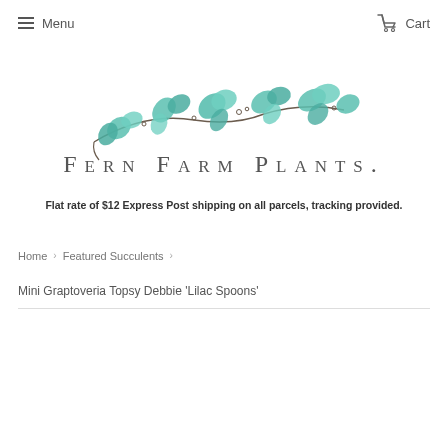Menu  Cart
[Figure (logo): Fern Farm Plants logo with teal/green illustrated leaves on a branch above stylized text reading FERN FARM PLANTS.]
Flat rate of $12 Express Post shipping on all parcels, tracking provided.
Home > Featured Succulents >
Mini Graptoveria Topsy Debbie 'Lilac Spoons'